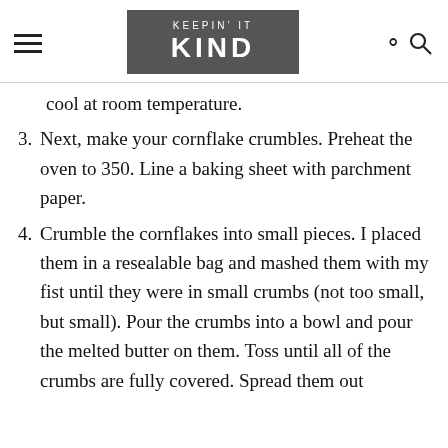KEEPIN' IT KIND
cool at room temperature.
Next, make your cornflake crumbles. Preheat the oven to 350. Line a baking sheet with parchment paper.
Crumble the cornflakes into small pieces. I placed them in a resealable bag and mashed them with my fist until they were in small crumbs (not too small, but small). Pour the crumbs into a bowl and pour the melted butter on them. Toss until all of the crumbs are fully covered. Spread them out